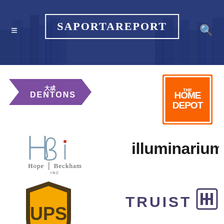[Figure (screenshot): SaportaReport website header with city skyline background, hamburger menu icon on left, search icon on right, and site title 'SaportaReport' in a white bordered box in the center]
[Figure (logo): Dentons law firm logo - purple arrow/chevron shape with white text '大成 DENTONS']
[Figure (logo): The Home Depot logo - orange square tilted 45 degrees with white text 'THE HOME DEPOT']
[Figure (logo): Hope Beckham Inc logo - stylized HBi script with Hope Beckham INC text below]
[Figure (logo): Illuminarium logo - lowercase black sans-serif text 'illuminarium']
[Figure (logo): UPS logo - brown shield shape with gold UPS letters]
[Figure (logo): Truist bank logo - dark purple text 'TRUIST' with stylized H symbol]
[Figure (logo): Partial Lincoln automobile logo - silver arch/star shape partially visible at bottom right]